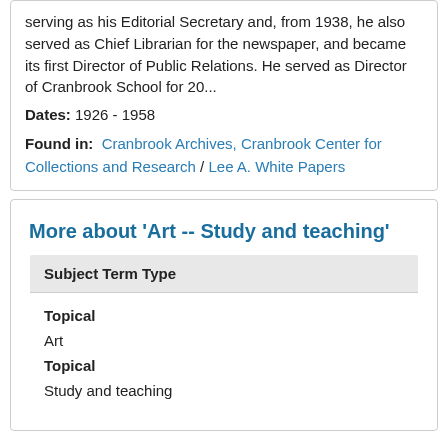serving as his Editorial Secretary and, from 1938, he also served as Chief Librarian for the newspaper, and became its first Director of Public Relations. He served as Director of Cranbrook School for 20...
Dates: 1926 - 1958
Found in: Cranbrook Archives, Cranbrook Center for Collections and Research / Lee A. White Papers
More about 'Art -- Study and teaching'
| Subject Term Type |
| --- |
| Topical |
| Art |
| Topical |
| Study and teaching |
Filtered By